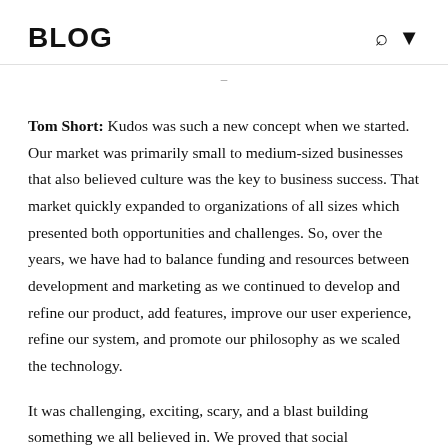BLOG
Tom Short: Kudos was such a new concept when we started. Our market was primarily small to medium-sized businesses that also believed culture was the key to business success. That market quickly expanded to organizations of all sizes which presented both opportunities and challenges. So, over the years, we have had to balance funding and resources between development and marketing as we continued to develop and refine our product, add features, improve our user experience, refine our system, and promote our philosophy as we scaled the technology.
It was challenging, exciting, scary, and a blast building something we all believed in. We proved that social